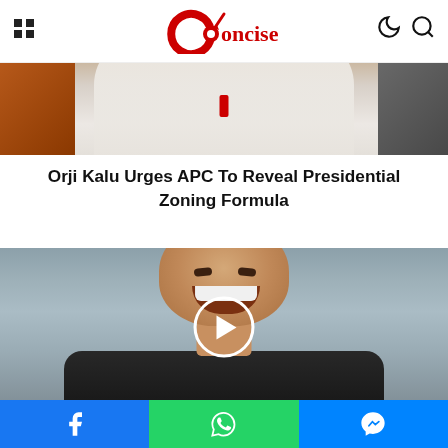Concise
[Figure (photo): Person in white shirt seated, with orange/wood background on left and gray chair on right]
Orji Kalu Urges APC To Reveal Presidential Zoning Formula
[Figure (photo): Man laughing (Elon Musk) with gray background, play button overlay in center]
Social sharing bar: Facebook, WhatsApp, Messenger